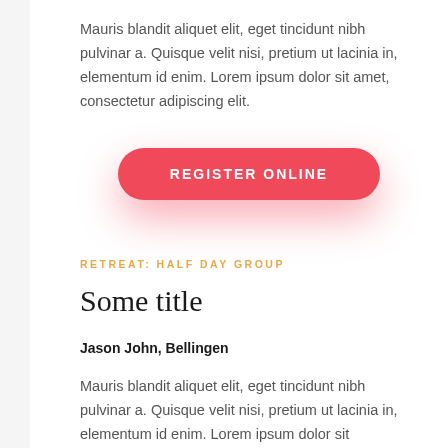Mauris blandit aliquet elit, eget tincidunt nibh pulvinar a. Quisque velit nisi, pretium ut lacinia in, elementum id enim. Lorem ipsum dolor sit amet, consectetur adipiscing elit.
[Figure (other): Red rounded rectangle button with white uppercase bold text reading 'REGISTER ONLINE', with a red glow/shadow beneath it]
RETREAT: HALF DAY GROUP
Some title
Jason John, Bellingen
Mauris blandit aliquet elit, eget tincidunt nibh pulvinar a. Quisque velit nisi, pretium ut lacinia in, elementum id enim. Lorem ipsum dolor sit